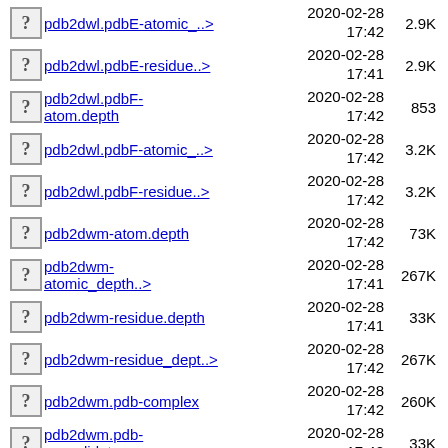pdb2dwl.pdbE-atomic_..> 2020-02-28 17:42 2.9K
pdb2dwl.pdbE-residue..> 2020-02-28 17:41 2.9K
pdb2dwl.pdbF-atom.depth 2020-02-28 17:42 853
pdb2dwl.pdbF-atomic_..> 2020-02-28 17:42 3.2K
pdb2dwl.pdbF-residue..> 2020-02-28 17:42 3.2K
pdb2dwm-atom.depth 2020-02-28 17:42 73K
pdb2dwm-atomic_depth..> 2020-02-28 17:41 267K
pdb2dwm-residue.depth 2020-02-28 17:41 33K
pdb2dwm-residue_dept..> 2020-02-28 17:42 267K
pdb2dwm.pdb-complex 2020-02-28 17:42 260K
pdb2dwm.pdb-consolidate 2020-02-28 17:42 33K
pdb2dwm.pdbA- 2020-02-28 18K